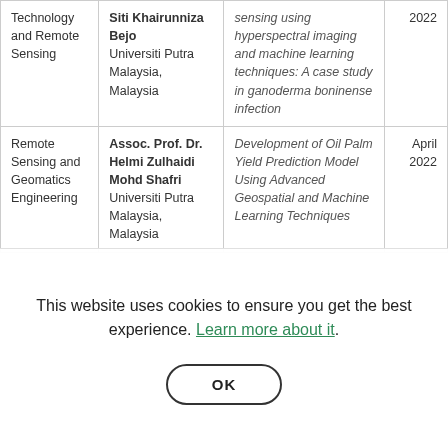| Department | Author | Title | Year |
| --- | --- | --- | --- |
| Technology and Remote Sensing | Siti Khairunniza Bejo
Universiti Putra Malaysia, Malaysia | sensing using hyperspectral imaging and machine learning techniques: A case study in ganoderma boninense infection | 2022 |
| Remote Sensing and Geomatics Engineering | Assoc. Prof. Dr. Helmi Zulhaidi Mohd Shafri
Universiti Putra Malaysia, Malaysia | Development of Oil Palm Yield Prediction Model Using Advanced Geospatial and Machine Learning Techniques | April 2022 |
This website uses cookies to ensure you get the best experience. Learn more about it.